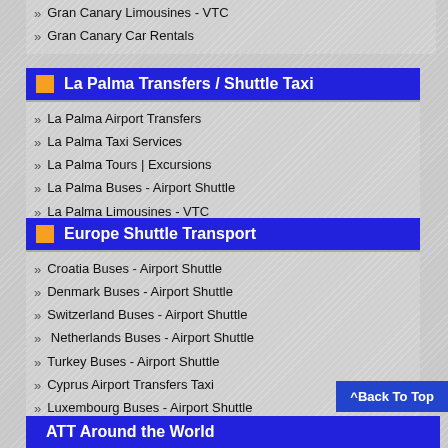Gran Canary Limousines - VTC
Gran Canary Car Rentals
La Palma Transfers / Shuttle Taxi
La Palma Airport Transfers
La Palma Taxi Services
La Palma Tours | Excursions
La Palma Buses - Airport Shuttle
La Palma Limousines - VTC
La Palma Car Rentals
Europe Shuttle Transport
Croatia Buses - Airport Shuttle
Denmark Buses - Airport Shuttle
Switzerland Buses - Airport Shuttle
Netherlands Buses - Airport Shuttle
Turkey Buses - Airport Shuttle
Cyprus Airport Transfers Taxi
Luxembourg Buses - Airport Shuttle
Andorra Buses - Airport Shuttle
Malta Buses - Airport Shuttle
Monaco Buses - Airport Shuttle
Vatican City Buses - Airport Shuttle
Yugoslavia Buses - Airport Shuttle
ATT Around the World